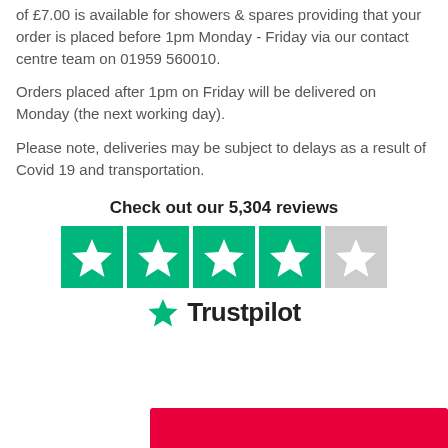of £7.00 is available for showers & spares providing that your order is placed before 1pm Monday - Friday via our contact centre team on 01959 560010.
Orders placed after 1pm on Friday will be delivered on Monday (the next working day).
Please note, deliveries may be subject to delays as a result of Covid 19 and transportation.
[Figure (infographic): Trustpilot widget showing 'Check out our 5,304 reviews' with 4 green star boxes and 1 gray star box, and the Trustpilot logo below.]